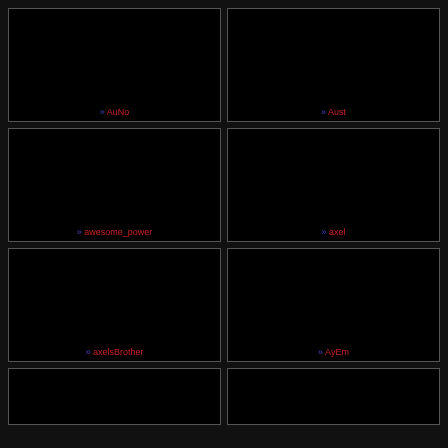[Figure (screenshot): Black thumbnail box labeled AuNo]
[Figure (screenshot): Black thumbnail box labeled Aust]
[Figure (screenshot): Black thumbnail box labeled awesome_power]
[Figure (screenshot): Black thumbnail box labeled axel]
[Figure (screenshot): Black thumbnail box labeled axelsBrother]
[Figure (screenshot): Black thumbnail box labeled AyEm]
[Figure (screenshot): Black thumbnail box (partial, row 4 left)]
[Figure (screenshot): Black thumbnail box (partial, row 4 right)]